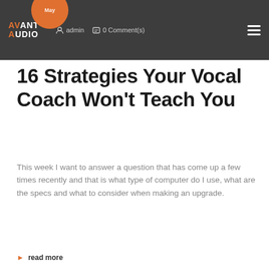AVANT AUDIO | admin | 0 Comment(s)
16 Strategies Your Vocal Coach Won't Teach You
This week I want to answer a question that has come up a few times recently and that is what type of computer do I use, what are the specs and what to consider when making an upgrade.
read more
[Figure (photo): Dark background image of recording drums]
14 May | admin | 0 Comment(s)
Recording Drums – Why Recording